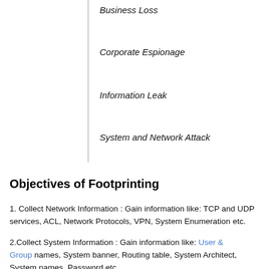Business Loss
Corporate Espionage
Information Leak
System and Network Attack
Objectives of Footprinting
1. Collect Network Information : Gain information like: TCP and UDP services, ACL, Network Protocols, VPN, System Enumeration etc.
2.Collect System Information : Gain information like: User & Group names, System banner, Routing table, System Architect, System names, Password etc.